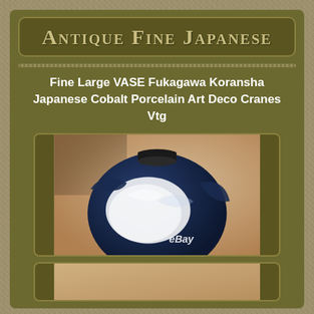Antique Fine Japanese
Fine Large VASE Fukagawa Koransha Japanese Cobalt Porcelain Art Deco Cranes Vtg
[Figure (photo): Close-up photo of a large round cobalt blue and white Japanese porcelain vase with black collar/neck, showing white crane design on dark blue background, with eBay watermark, placed against a tan/cardboard background]
[Figure (photo): Partial view of another photo of the same or similar vase, showing tan/brown background, cropped at bottom of page]